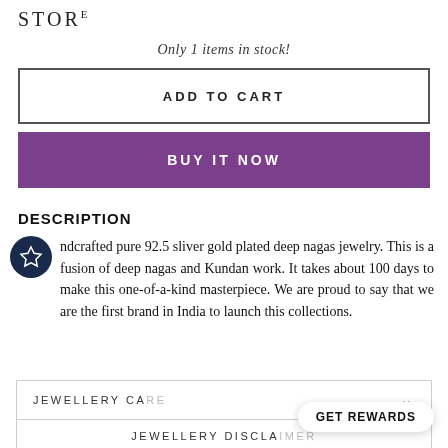STORE
Only 1 items in stock!
ADD TO CART
BUY IT NOW
DESCRIPTION
Handcrafted pure 92.5 sliver gold plated deep nagas jewelry. This is a fusion of deep nagas and Kundan work. It takes about 100 days to make this one-of-a-kind masterpiece. We are proud to say that we are the first brand in India to launch this collections.
JEWELLERY CARE
JEWELLERY DISCLA
GET REWARDS